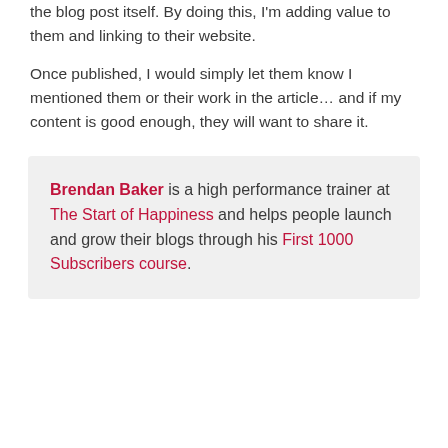the blog post itself. By doing this, I'm adding value to them and linking to their website.
Once published, I would simply let them know I mentioned them or their work in the article… and if my content is good enough, they will want to share it.
Brendan Baker is a high performance trainer at The Start of Happiness and helps people launch and grow their blogs through his First 1000 Subscribers course.